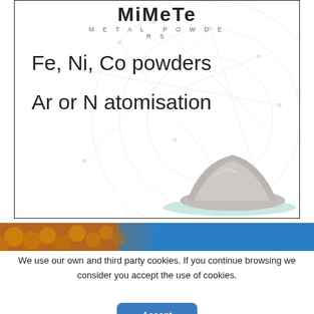[Figure (advertisement): Mimete Metal Powders advertisement showing logo, text 'Fe, Ni, Co powders / Ar or N atomisation', a network diagram background, and a pile of grey metal powder on a glass dish]
[Figure (photo): Banner strip showing orange/gold spherical metal powder particles on left and blue gradient on right]
We use our own and third party cookies. If you continue browsing we consider you accept the use of cookies.
Accept